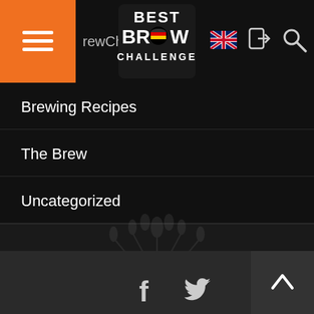[Figure (screenshot): Website navigation bar with hamburger menu (orange), 'rewChallenge' text, Best Brew Challenge logo, UK flag icon, login icon, and search icon]
Brewing Recipes
The Brew
Uncategorized
[Figure (logo): Best Brew Challenge 2016 wheat sheaf logo watermark]
BBC 2016
...Loading
Copyright 2016 - BESTMALZ AG   |   Legal notice
(Impressum)   |   Privacy policy (Datenschutz)
[Figure (screenshot): Scroll to top button (arrow up) and Facebook and Twitter social media icons]